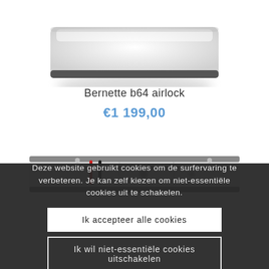[Figure (photo): Top portion of a Bernette b64 airlock sewing/overlocker machine, showing the upper body in white/grey against a white background]
Bernette b64 airlock
€1 199,00
[Figure (photo): Lower portion of a Bernette sewing machine showing the front panel with red and black thread guides and metal components]
Deze website gebruikt cookies om de surfervaring te verbeteren. Je kan zelf kiezen om niet-essentiële cookies uit te schakelen.
Ik accepteer alle cookies
Ik wil niet-essentiële cookies uitschakelen